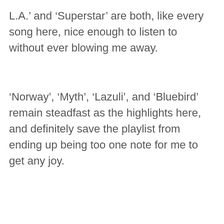L.A.' and 'Superstar' are both, like every song here, nice enough to listen to without ever blowing me away.
'Norway', 'Myth', 'Lazuli', and 'Bluebird' remain steadfast as the highlights here, and definitely save the playlist from ending up being too one note for me to get any joy.
[Figure (screenshot): YouTube video embed showing 'Bluebird - Beach House (OFFICIAL A...)' with a red background, beach house logo top right, circular thumbnail top left, and a red play button centered.]